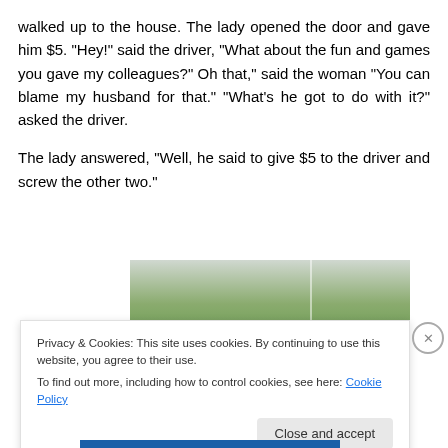walked up to the house. The lady opened the door and gave him $5. "Hey!" said the driver, "What about the fun and games you gave my colleagues?" Oh that," said the woman "You can blame my husband for that." "What's he got to do with it?" asked the driver.
The lady answered, "Well, he said to give $5 to the driver and screw the other two."
[Figure (photo): Outdoor scene with green grass/trees and items on the ground, shown as two side-by-side photo panels]
Privacy & Cookies: This site uses cookies. By continuing to use this website, you agree to their use. To find out more, including how to control cookies, see here: Cookie Policy